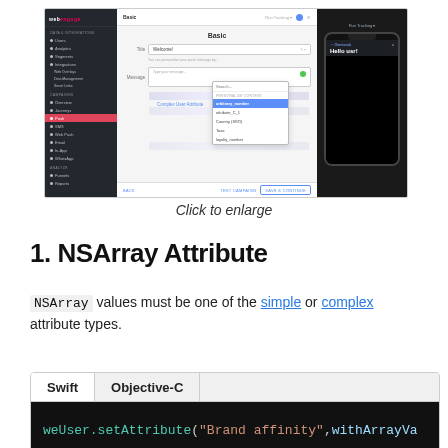[Figure (screenshot): WebEngage dashboard screenshot showing push notification editor with sidebar navigation, field editor with dropdown showing 'Complex User Attribute' option selected, and mobile phone preview on the right.]
Click to enlarge
1. NSArray Attribute
NSArray values must be one of the simple or complex attribute types.
| Swift | Objective-C |
| --- | --- |
| weUser.setAttribute("Brand affinity", withArrayVa |  |